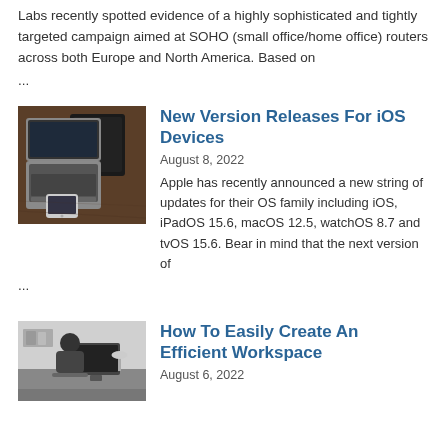Labs recently spotted evidence of a highly sophisticated and tightly targeted campaign aimed at SOHO (small office/home office) routers across both Europe and North America. Based on ...
[Figure (photo): Photo of a laptop, tablet and smartphone on a wooden desk]
New Version Releases For iOS Devices
August 8, 2022
Apple has recently announced a new string of updates for their OS family including iOS, iPadOS 15.6, macOS 12.5, watchOS 8.7 and tvOS 15.6. Bear in mind that the next version of ...
[Figure (photo): Black and white photo of a person sitting at a desk working on a computer in a home office workspace]
How To Easily Create An Efficient Workspace
August 6, 2022